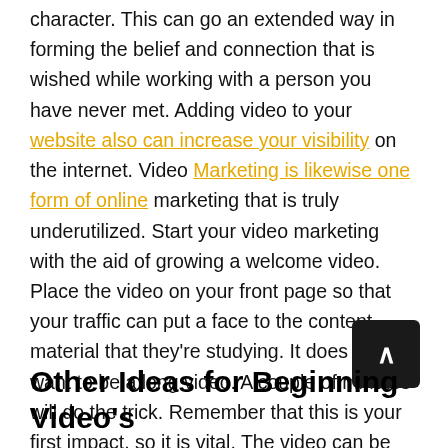character. This can go an extended way in forming the belief and connection that is wished while working with a person you have never met. Adding video to your website also can increase your visibility on the internet. Video Marketing is likewise one form of online marketing that is truly underutilized. Start your video marketing with the aid of growing a welcome video. Place the video on your front page so that your traffic can put a face to the content material that they're studying. It does not want to be a long video. A couple of minutes will do the trick. Remember that this is your first impact, so it is vital. The video can be essentially an about me web page. However, it does your first-class to cognizance for your vacationer.
Other Ideas for Beginning Video's